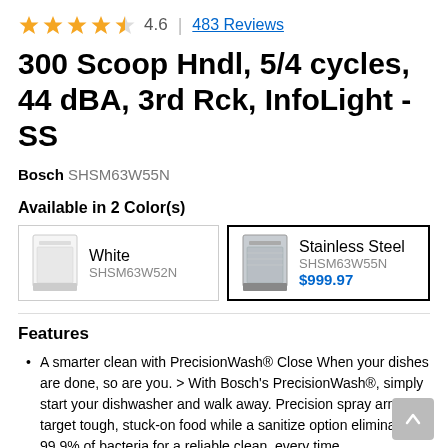4.6 | 483 Reviews
300 Scoop Hndl, 5/4 cycles, 44 dBA, 3rd Rck, InfoLight - SS
Bosch SHSM63W55N
Available in 2 Color(s)
White SHSM63W52N | Stainless Steel SHSM63W55N $999.97
Features
A smarter clean with PrecisionWash® Close When your dishes are done, so are you. > With Bosch's PrecisionWash®, simply start your dishwasher and walk away. Precision spray arms target tough, stuck-on food while a sanitize option eliminates 99.9% of bacteria for a reliable clean, every time.
485 quality checks on every dishwasher. Close Quality in every